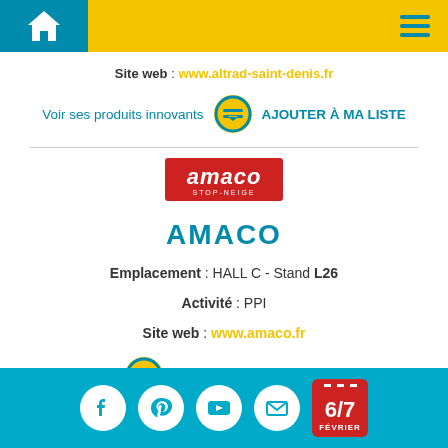Home | Menu
Site web : www.altrad-saint-denis.fr
Voir ses produits innovants  AJOUTER À MA LISTE
[Figure (logo): AMACO STOP-NEIGE logo in red rectangle]
AMACO
Emplacement : HALL C - Stand L26
Activité : PPI
Site web : www.amaco.fr
AJOUTER À MA LISTE
Social icons: Facebook, Pinterest, YouTube, Email | Calendar: 6/7 FÉVRIER